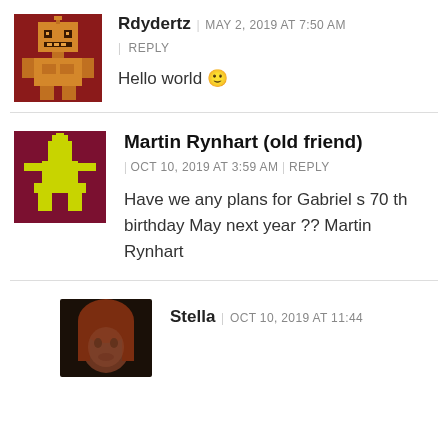[Figure (illustration): Pixel art avatar with dark red background and orange/tan robot-like figure]
Rdydertz | MAY 2, 2019 AT 7:50 AM
| REPLY
Hello world 🙂
[Figure (illustration): Pixel art avatar with dark red/maroon background and yellow-green figure resembling a robot or person]
Martin Rynhart (old friend) | OCT 10, 2019 AT 3:59 AM | REPLY
Have we any plans for Gabriel s 70 th birthday May next year ?? Martin Rynhart
[Figure (photo): Photo of a person with auburn/reddish hair, dark background, partially visible]
Stella | OCT 10, 2019 AT 11:44